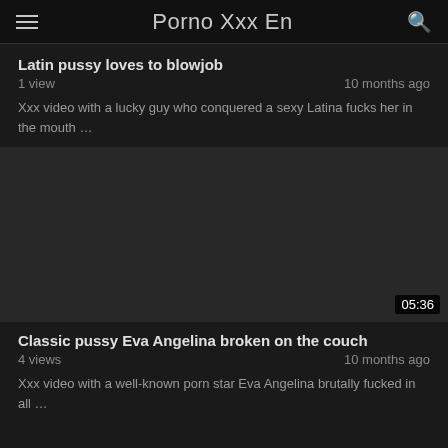Porno Xxx En
Latin pussy loves to blowjob
1 view   10 months ago
Xxx video with a lucky guy who conquered a sexy Latina fucks her in the mouth …
[Figure (other): Video thumbnail placeholder, dark background, duration badge showing 05:36]
Classic pussy Eva Angelina broken on the couch
4 views   10 months ago
Xxx video with a well-known porn star Eva Angelina brutally fucked in all …